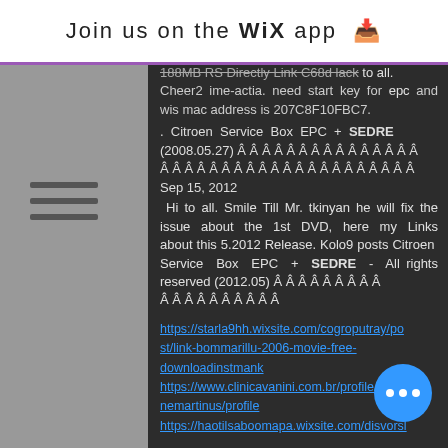Join us on the WiX app ↓
188MB RS Directly Link C68d lack to all. Cheer2 ime-actia. need start key for epc and wis mac address is 207C8F10FBC7.
. Citroen Service Box EPC + SEDRE (2008.05.27) Â Â Â Â Â Â Â Â Â Â Â Â Â Â Â Â Â Â Â Â Â Â Â Â Â Â Â Â Â Â Â Â Â Â Â Â Â Â Â Â Â Sep 15, 2012
Hi to all. Smile Till Mr. tkinyan he will fix the issue about the 1st DVD, here my Links about this 5.2012 Release. Kolo9 posts Citroen Service Box EPC + SEDRE - All rights reserved (2012.05) Â Â Â Â Â Â Â Â Â Â Â Â Â Â Â Â Â Â Â Â
https://starla9hh.wixsite.com/cogroputray/post/link-bommarillu-2006-movie-free-downloadinstmank
https://www.clinicavanini.com.br/profile/nemartinus/profile
https://haotilsaboomapa.wixsite.com/disvorsl